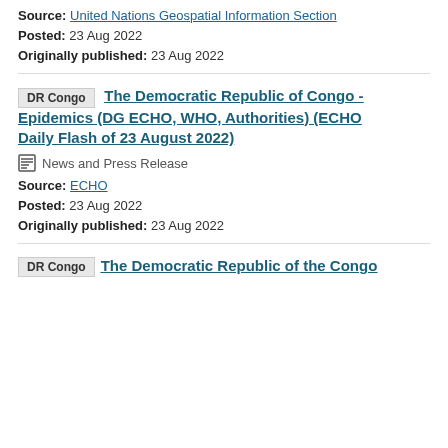Source: United Nations Geospatial Information Section
Posted: 23 Aug 2022
Originally published: 23 Aug 2022
DR Congo   The Democratic Republic of Congo - Epidemics (DG ECHO, WHO, Authorities) (ECHO Daily Flash of 23 August 2022)
News and Press Release
Source: ECHO
Posted: 23 Aug 2022
Originally published: 23 Aug 2022
DR Congo   The Democratic Republic of the Congo